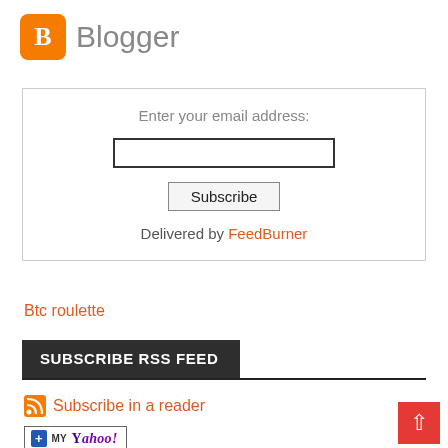[Figure (logo): Blogger logo with orange square icon containing white letter B and gray text 'Blogger']
Enter your email address:
[Figure (screenshot): Email subscription form with text input and Subscribe button, Delivered by FeedBurner]
Btc roulette
SUBSCRIBE RSS FEED
Subscribe in a reader
[Figure (logo): My Yahoo! add button badge]
[Figure (logo): Netvibes add button badge]